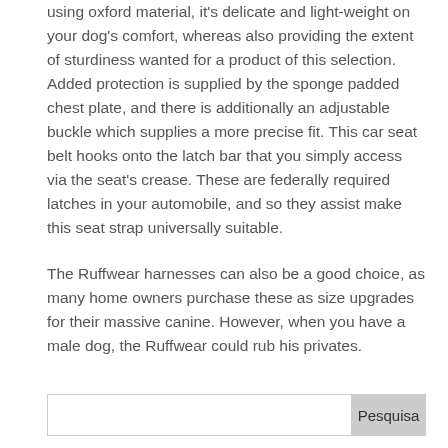using oxford material, it's delicate and light-weight on your dog's comfort, whereas also providing the extent of sturdiness wanted for a product of this selection. Added protection is supplied by the sponge padded chest plate, and there is additionally an adjustable buckle which supplies a more precise fit. This car seat belt hooks onto the latch bar that you simply access via the seat's crease. These are federally required latches in your automobile, and so they assist make this seat strap universally suitable.
The Ruffwear harnesses can also be a good choice, as many home owners purchase these as size upgrades for their massive canine. However, when you have a male dog, the Ruffwear could rub his privates.